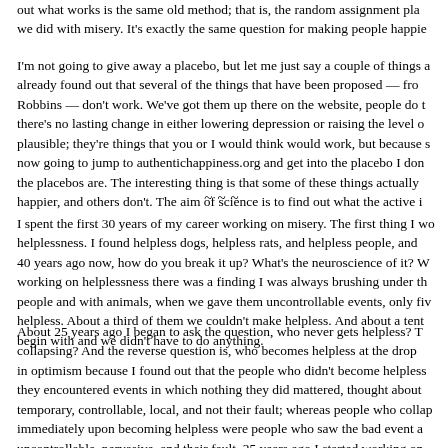out what works is the same old method; that is, the random assignment pla we did with misery. It's exactly the same question for making people happie
I'm not going to give away a placebo, but let me just say a couple of things a already found out that several of the things that have been proposed — fro Robbins — don't work. We've got them up there on the website, people do t there's no lasting change in either lowering depression or raising the level o plausible; they're things that you or I would think would work, but because s now going to jump to authentichappiness.org and get into the placebo I don the placebos are. The interesting thing is that some of these things actually happier, and others don't. The aim of science is to find out what the active i
~~~
I spent the first 30 years of my career working on misery. The first thing I wo helplessness. I found helpless dogs, helpless rats, and helpless people, and 40 years ago now, how do you break it up? What's the neuroscience of it? W working on helplessness there was a finding I was always brushing under th people and with animals, when we gave them uncontrollable events, only fiv helpless. About a third of them we couldn't make helpless. And about a tent begin with and we didn't have to do anything.
About 25 years ago I began to ask the question, who never gets helpless? T collapsing? And the reverse question is, who becomes helpless at the drop in optimism because I found out that the people who didn't become helpless they encountered events in which nothing they did mattered, thought about temporary, controllable, local, and not their fault; whereas people who collap immediately upon becoming helpless were people who saw the bad event a uncontrollable, pervasive, and their fault. 25 years ago I started working on pessimism, and I found that optimistic people got depressed at half the rate